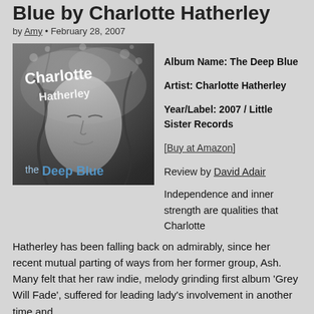Blue by Charlotte Hatherley
by Amy • February 28, 2007
[Figure (photo): Album cover of 'The Deep Blue' by Charlotte Hatherley — black and white photo of a woman with closed eyes submerged in water with text 'Charlotte Hatherley the Deep Blue' in stylized fonts]
Album Name: The Deep Blue
Artist: Charlotte Hatherley
Year/Label: 2007 / Little Sister Records
[Buy at Amazon]

Review by David Adair

Independence and inner strength are qualities that Charlotte Hatherley has been falling back on admirably, since her recent mutual parting of ways from her former group, Ash. Many felt that her raw indie, melody grinding first album 'Grey Will Fade', suffered for leading lady's involvement in another time and